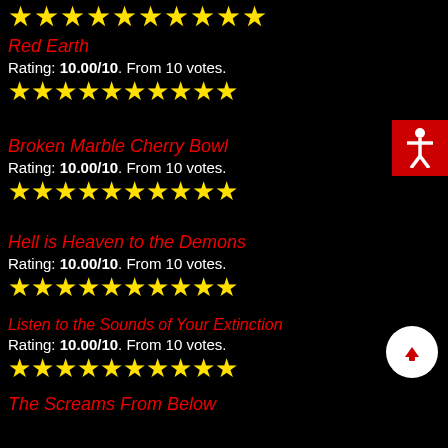★★★★★★★★★★ (stars row at top)
Red Earth
Rating: 10.00/10. From 10 votes.
★★★★★★★★★★
Broken Marble Cherry Bowl
Rating: 10.00/10. From 10 votes.
★★★★★★★★★★
Hell is Heaven to the Demons
Rating: 10.00/10. From 10 votes.
★★★★★★★★★★
Listen to the Sounds of Your Extinction
Rating: 10.00/10. From 10 votes.
★★★★★★★★★★
The Screams From Below
Rating: 10.00/10. From 9 votes.
★★★★★★★★★★
A Christmas Angel